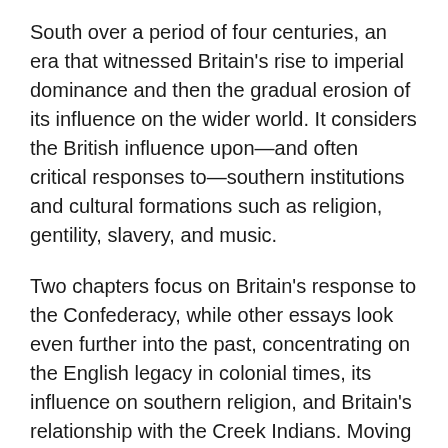South over a period of four centuries, an era that witnessed Britain's rise to imperial dominance and then the gradual erosion of its influence on the wider world. It considers the British influence upon—and often critical responses to—southern institutions and cultural formations such as religion, gentility, slavery, and music.
Two chapters focus on Britain's response to the Confederacy, while other essays look even further into the past, concentrating on the English legacy in colonial times, its influence on southern religion, and Britain's relationship with the Creek Indians. Moving into the twentieth century, the book features analysis of the South's relationship to the British Left from 1930 to 1960, and an investigation of the South's role in 1950s British popular music.
With an engaging afterword that explores the difficulties in comprehending both Britain and the American South in the present day as well as in the past, this book shows that the